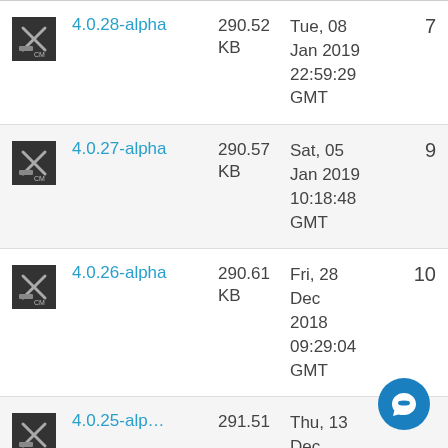| Icon | Version | Size | Date | Count |
| --- | --- | --- | --- | --- |
| [icon] | 4.0.28-alpha | 290.52 KB | Tue, 08 Jan 2019 22:59:29 GMT | 7 |
| [icon] | 4.0.27-alpha | 290.57 KB | Sat, 05 Jan 2019 10:18:48 GMT | 9 |
| [icon] | 4.0.26-alpha | 290.61 KB | Fri, 28 Dec 2018 09:29:04 GMT | 10 |
| [icon] | 4.0.25-alpha | 291.51 KB | Thu, 13 Dec 2018 ... | 7 |